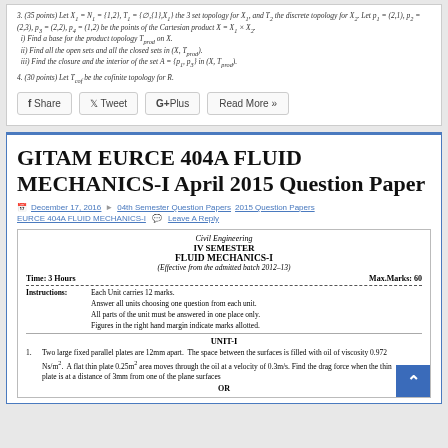3. (35 points) Let X1 = N1 = {1,2}, T1 = {∅,{1},X1} the 3 set topology for X1, and T2 the discrete topology for X2. Let p1 = (2,1), p2 = (2,3), p3 = (2,2), p4 = (1,2) be the points of the Cartesian product X = X1 × X2. i) Find a base for the product topology T_prod on X. ii) Find all the open sets and all the closed sets in (X, T_prod). iii) Find the closure and the interior of the set A = {p1, p3} in (X, T_prod).
4. (30 points) Let T_cof be the cofinite topology for R.
GITAM EURCE 404A FLUID MECHANICS-I April 2015 Question Paper
December 17, 2016  04th Semester Question Papers  2015 Question Papers  EURCE 404A FLUID MECHANICS-I  Leave A Reply
[Figure (other): Exam paper header: Civil Engineering, IV SEMESTER, FLUID MECHANICS-I, Effective from the admitted batch 2012-13, Time: 3 Hours, Max.Marks: 60, Instructions about units and marks]
1. Two large fixed parallel plates are 12mm apart. The space between the surfaces is filled with oil of viscosity 0.972 Ns/m². A flat thin plate 0.25m² area moves through the oil at a velocity of 0.3m/s. Find the drag force when the thin plate is at a distance of 3mm from one of the plane surfaces   12
OR